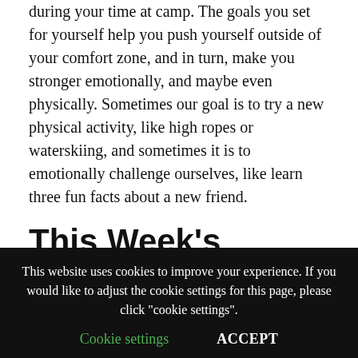during your time at camp. The goals you set for yourself help you push yourself outside of your comfort zone, and in turn, make you stronger emotionally, and maybe even physically. Sometimes our goal is to try a new physical activity, like high ropes or waterskiing, and sometimes it is to emotionally challenge ourselves, like learn three fun facts about a new friend.
This Week's #GACbeyou Challenge
Journal or share with someone else (can be a parent, sibling, or friend) your answer to this question:
This website uses cookies to improve your experience. If you would like to adjust the cookie settings for this page, please click "cookie settings".